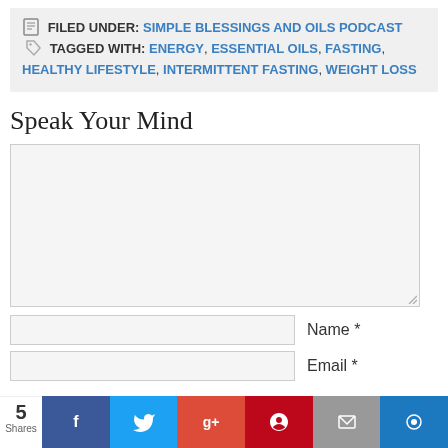FILED UNDER: SIMPLE BLESSINGS AND OILS PODCAST   TAGGED WITH: ENERGY, ESSENTIAL OILS, FASTING, HEALTHY LIFESTYLE, INTERMITTENT FASTING, WEIGHT LOSS
Speak Your Mind
[comment textarea]
Name *
Email *
5 Shares — social share bar: Facebook, Twitter, Google+, Pinterest, Email, other